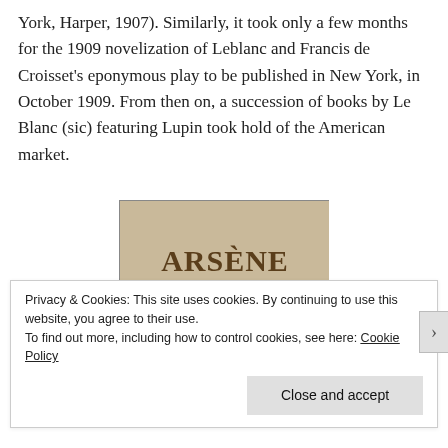York, Harper, 1907). Similarly, it took only a few months for the 1909 novelization of Leblanc and Francis de Croisset's eponymous play to be published in New York, in October 1909. From then on, a succession of books by Le Blanc (sic) featuring Lupin took hold of the American market.
[Figure (photo): Book cover showing 'ARSÈNE LUPIN' embossed in bold serif letters on a textured beige/tan background, with a dark shadowy figure at the bottom.]
Privacy & Cookies: This site uses cookies. By continuing to use this website, you agree to their use.
To find out more, including how to control cookies, see here: Cookie Policy
Close and accept